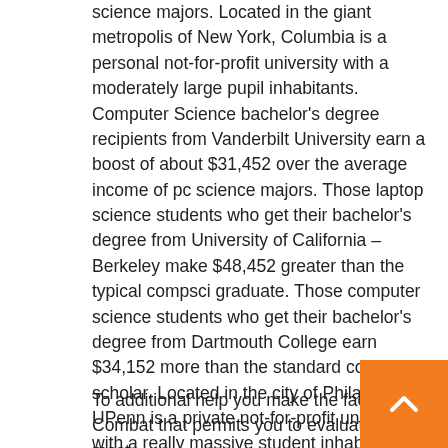science majors. Located in the giant metropolis of New York, Columbia is a personal not-for-profit university with a moderately large pupil inhabitants. Computer Science bachelor's degree recipients from Vanderbilt University earn a boost of about $31,452 over the average income of pc science majors. Those laptop science students who get their bachelor's degree from University of California – Berkeley make $48,452 greater than the typical compsci graduate. Those computer science students who get their bachelor's degree from Dartmouth College earn $34,152 more than the standard compsci scholar. Located in the city of Philadelphia, UPenn is a private not-for-profit university with a really massive student inhabitants.
To additional help you make the faculty determination, we have developed a singular device called College Combat that permits you to evaluate colleges primarily based on the elements that matter essentially the most